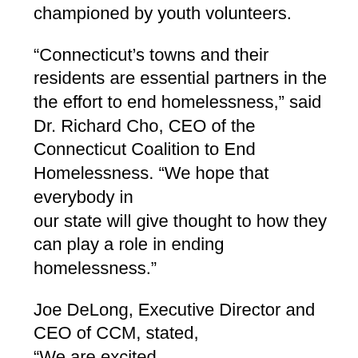championed by youth volunteers.
“Connecticut’s towns and their residents are essential partners in the the effort to end homelessness,” said Dr. Richard Cho, CEO of the Connecticut Coalition to End Homelessness. “We hope that everybody in our state will give thought to how they can play a role in ending homelessness.”
Joe DeLong, Executive Director and CEO of CCM, stated, “We are excited to join CCEH and Sustainable CT to proactively address homelessness in our municipalities.  This partnership allows each of us to leverage our resources and expertise to reduce homelessness in our